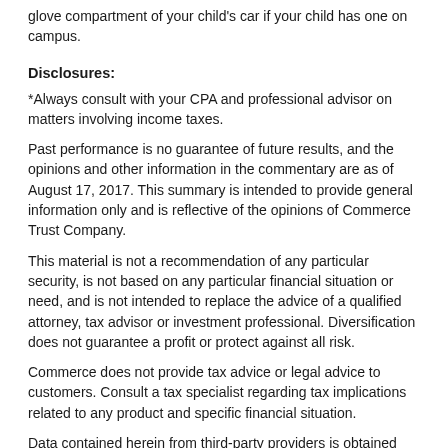glove compartment of your child’s car if your child has one on campus.
Disclosures:
*Always consult with your CPA and professional advisor on matters involving income taxes.
Past performance is no guarantee of future results, and the opinions and other information in the commentary are as of August 17, 2017. This summary is intended to provide general information only and is reflective of the opinions of Commerce Trust Company.
This material is not a recommendation of any particular security, is not based on any particular financial situation or need, and is not intended to replace the advice of a qualified attorney, tax advisor or investment professional. Diversification does not guarantee a profit or protect against all risk.
Commerce does not provide tax advice or legal advice to customers. Consult a tax specialist regarding tax implications related to any product and specific financial situation.
Data contained herein from third-party providers is obtained from what are considered reliable sources. However, its accuracy, completeness or reliability cannot be guaranteed.
Commerce Trust Company is a division of Commerce Bank.